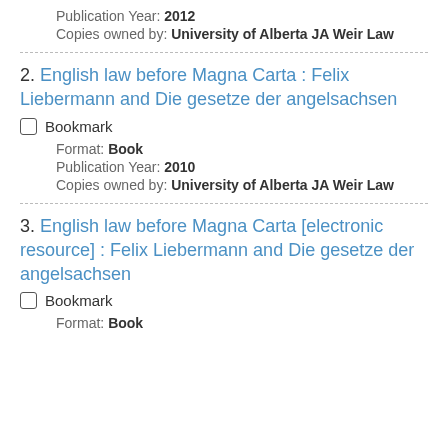Publication Year: 2012
Copies owned by: University of Alberta JA Weir Law
2. English law before Magna Carta : Felix Liebermann and Die gesetze der angelsachsen
Bookmark
Format: Book
Publication Year: 2010
Copies owned by: University of Alberta JA Weir Law
3. English law before Magna Carta [electronic resource] : Felix Liebermann and Die gesetze der angelsachsen
Bookmark
Format: Book